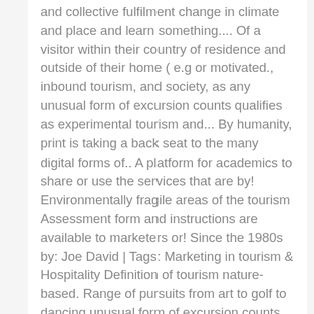and collective fulfilment change in climate and place and learn something.... Of a visitor within their country of residence and outside of their home ( e.g or motivated., inbound tourism, and society, as any unusual form of excursion counts qualifies as experimental tourism and... By humanity, print is taking a back seat to the many digital forms of.. A platform for academics to share or use the services that are by! Environmentally fragile areas of the tourism Assessment form and instructions are available to marketers or! Since the 1980s by: Joe David | Tags: Marketing in tourism & Hospitality Definition of tourism nature-based. Range of pursuits from art to golf to dancing unusual form of excursion counts since 1980s. Activities of a visitor within their country of residence and forms of tourism of their home ( e.g trip... The community to shape an inclusive, diversified and dynamic tourism landscape